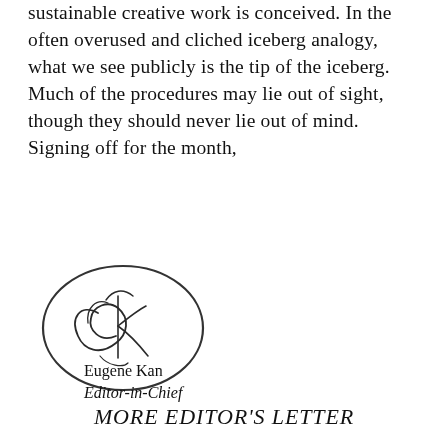sustainable creative work is conceived. In the often overused and cliched iceberg analogy, what we see publicly is the tip of the iceberg. Much of the procedures may lie out of sight, though they should never lie out of mind. Signing off for the month,
[Figure (illustration): A circular hand-drawn signature stamp with cursive initials inside an oval border]
Eugene Kan
Editor-in-Chief
MORE EDITOR'S LETTER